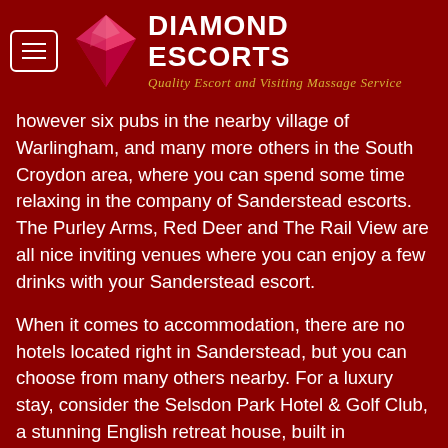Diamond Escorts — Quality Escort and Visiting Massage Service
however six pubs in the nearby village of Warlingham, and many more others in the South Croydon area, where you can spend some time relaxing in the company of Sanderstead escorts. The Purley Arms, Red Deer and The Rail View are all nice inviting venues where you can enjoy a few drinks with your Sanderstead escort.
When it comes to accommodation, there are no hotels located right in Sanderstead, but you can choose from many others nearby. For a luxury stay, consider the Selsdon Park Hotel & Golf Club, a stunning English retreat house, built in Elizabethan style, where you will be pampered in lavishly decorated rooms. This is a great hotel option for golf aficionados, as the property features an 18 hole championship level golf course. Alternatively the